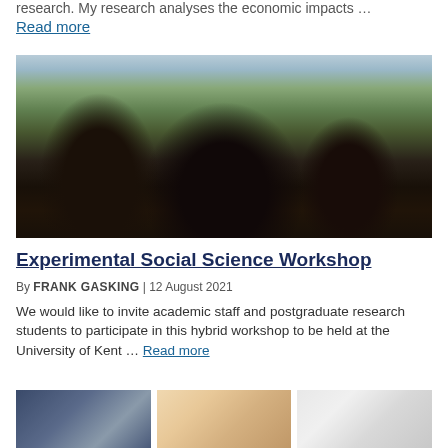research. My research analyses the economic impacts ...
Read more
[Figure (photo): Three African children looking at the camera outdoors, with trees and sky in the background.]
Experimental Social Science Workshop
By FRANK GASKING | 12 August 2021
We would like to invite academic staff and postgraduate research students to participate in this hybrid workshop to be held at the University of Kent … Read more
[Figure (photo): Small thumbnail image on the left showing people.]
[Figure (photo): Small thumbnail image in the center showing a woman.]
[Figure (photo): Small thumbnail image on the right showing an 'Eat Out' sign.]